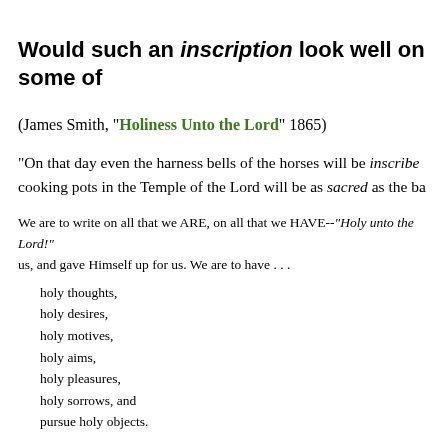Would such an inscription look well on some of
(James Smith, "Holiness Unto the Lord" 1865)
"On that day even the harness bells of the horses will be inscribed cooking pots in the Temple of the Lord will be as sacred as the ba
We are to write on all that we ARE, on all that we HAVE--"Holy unto the Lord!" us, and gave Himself up for us. We are to have . . .
holy thoughts,
holy desires,
holy motives,
holy aims,
holy pleasures,
holy sorrows, and
pursue holy objects.
1. See then, what we should BE--holy. This was God's end in our election, rec trials, troubles, and exercises; they are for our profit--that "we may be partakers o